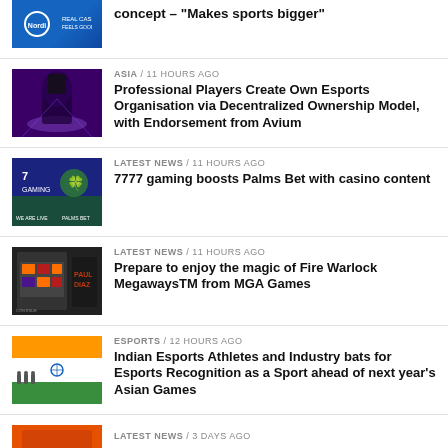[Figure (photo): NordicBet logo on blue background – partial top item]
concept – "Makes sports bigger"
[Figure (photo): Esports arena with silhouette of player, purple lighting]
ASIA / 11 hours ago
Professional Players Create Own Esports Organisation via Decentralized Ownership Model, with Endorsement from Avium
[Figure (photo): 7777 gaming logo with leprechaun and Palms Bet branding]
LATEST NEWS / 11 hours ago
7777 gaming boosts Palms Bet with casino content
[Figure (photo): Fire Warlock MegawaysTM slot game screenshot from MGA Games]
LATEST NEWS / 11 hours ago
Prepare to enjoy the magic of Fire Warlock MegawaysTM from MGA Games
[Figure (photo): Indian esports athletes holding Indian flag]
ESPORTS / 12 hours ago
Indian Esports Athletes and Industry bats for Esports Recognition as a Sport ahead of next year’s Asian Games
[Figure (photo): Partial thumbnail for latest news item]
LATEST NEWS / 3 days ago